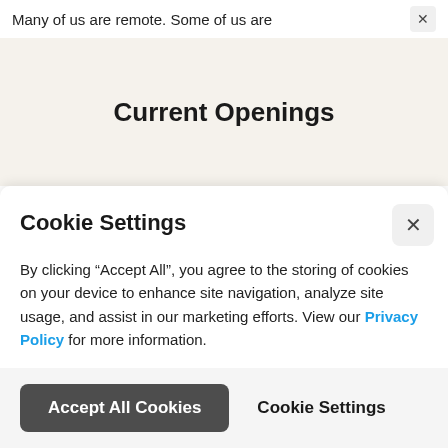Many of us are remote. Some of us are
Current Openings
Cookie Settings
By clicking “Accept All”, you agree to the storing of cookies on your device to enhance site navigation, analyze site usage, and assist in our marketing efforts. View our Privacy Policy for more information.
Accept All Cookies
Cookie Settings